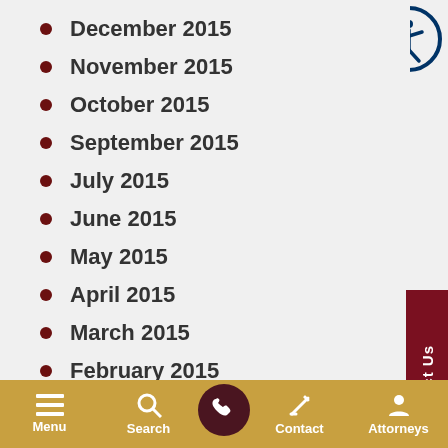December 2015
November 2015
October 2015
September 2015
July 2015
June 2015
May 2015
April 2015
March 2015
February 2015
January 2015
December 2014
Menu  Search  Contact  Attorneys